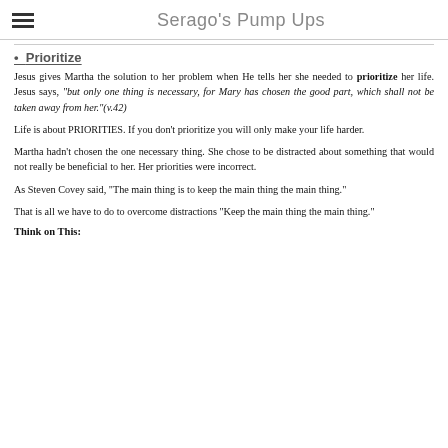Serago's Pump Ups
Prioritize
Jesus gives Martha the solution to her problem when He tells her she needed to prioritize her life. Jesus says, "but only one thing is necessary, for Mary has chosen the good part, which shall not be taken away from her."(v.42)
Life is about PRIORITIES. If you don't prioritize you will only make your life harder.
Martha hadn't chosen the one necessary thing. She chose to be distracted about something that would not really be beneficial to her. Her priorities were incorrect.
As Steven Covey said, "The main thing is to keep the main thing the main thing."
That is all we have to do to overcome distractions "Keep the main thing the main thing."
Think on This: